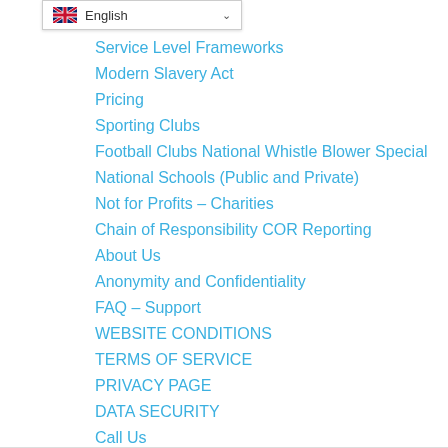[Figure (screenshot): Language selector dropdown showing UK flag and 'English' text with dropdown arrow]
Service Level Frameworks
Modern Slavery Act
Pricing
Sporting Clubs
Football Clubs National Whistle Blower Special
National Schools (Public and Private)
Not for Profits – Charities
Chain of Responsibility COR Reporting
About Us
Anonymity and Confidentiality
FAQ – Support
WEBSITE CONDITIONS
TERMS OF SERVICE
PRIVACY PAGE
DATA SECURITY
Call Us
Blog